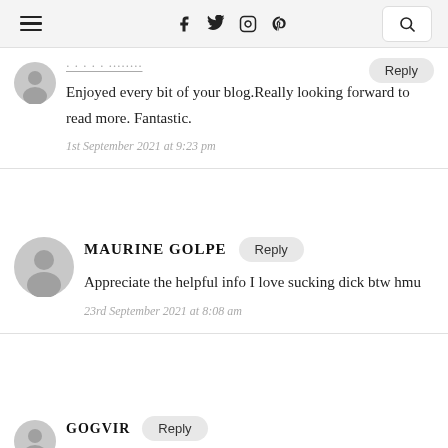Navigation bar with hamburger menu, social icons (Facebook, Twitter, Instagram, Pinterest), and search button
Enjoyed every bit of your blog.Really looking forward to read more. Fantastic.
1st September 2021 at 9:23 pm
MAURINE GOLPE
Appreciate the helpful info I love sucking dick btw hmu
23rd September 2021 at 8:08 am
GOGVIR